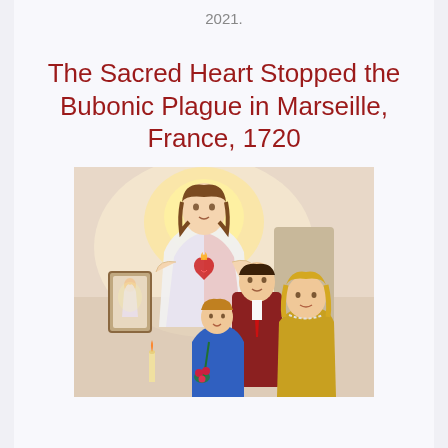2021.
The Sacred Heart Stopped the Bubonic Plague in Marseille, France, 1720
[Figure (illustration): Religious illustration showing Jesus Christ with a glowing halo and Sacred Heart, blessing a family (man, woman, and young girl holding flowers) in a domestic setting. A framed image of a saint is visible on the wall in the background.]